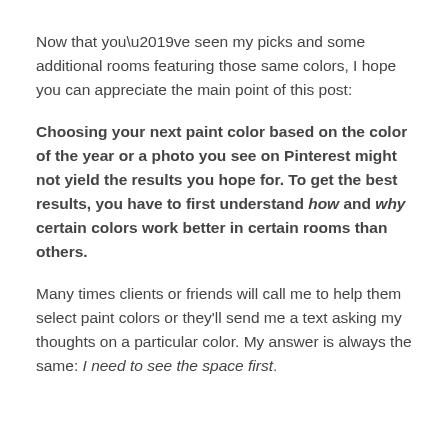Now that you’ve seen my picks and some additional rooms featuring those same colors, I hope you can appreciate the main point of this post:
Choosing your next paint color based on the color of the year or a photo you see on Pinterest might not yield the results you hope for. To get the best results, you have to first understand how and why certain colors work better in certain rooms than others.
Many times clients or friends will call me to help them select paint colors or they’ll send me a text asking my thoughts on a particular color. My answer is always the same: I need to see the space first.